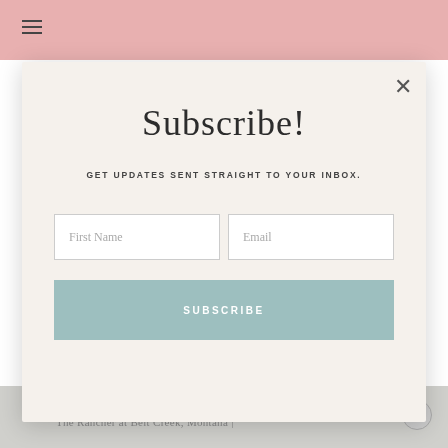I thrive on travel. You knew that, right? I have experiences lined up in my head way before I have the time to make them happen. My personality encouraged me to make the move to a ski resort. Why not live a life well lived every single day, right? I visited the ... two times this fall. I invite you to enjoy photos from my visits....
Subscribe!
GET UPDATES SENT STRAIGHT TO YOUR INBOX.
First Name
Email
SUBSCRIBE
The Rancher at Belt Creek, Montana |